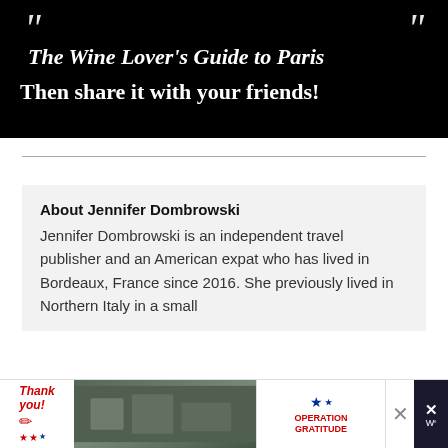[Figure (screenshot): Black banner with italic quote marks and white text: 'The Wine Lover's Guide to Paris' and 'Then share it with your friends!']
About Jennifer Dombrowski
Jennifer Dombrowski is an independent travel publisher and an American expat who has lived in Bordeaux, France since 2016. She previously lived in Northern Italy in a small
[Figure (screenshot): Advertisement banner at bottom: Thank you with American flag imagery and Operation Gratitude logo, with close button X]